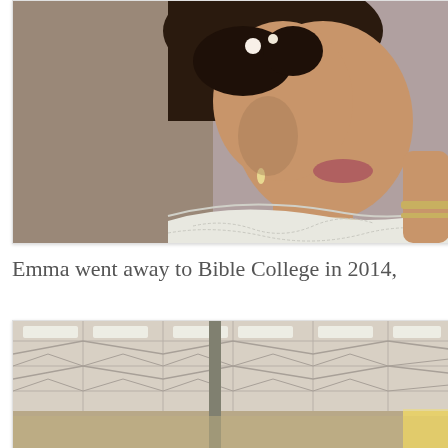[Figure (photo): Close-up photo of a young woman in a white lace wedding dress, with an updo hairstyle, pearl drop earrings, and a beaded necklace. She is smiling and her arm is raised. The background is a neutral grey.]
Emma went away to Bible College in 2014,
[Figure (photo): Interior photo of a room with a drop ceiling featuring fluorescent lights and a decorative geometric pattern. The floor appears to have light-colored tile and there is bright light coming from the right side.]